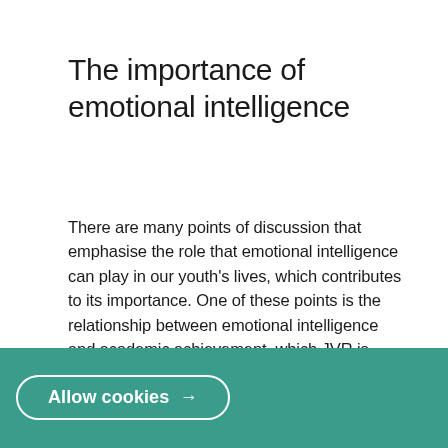The importance of emotional intelligence
There are many points of discussion that emphasise the role that emotional intelligence can play in our youth's lives, which contributes to its importance. One of these points is the relationship between emotional intelligence and academic achievement, which JVR is excited to confirm from recent research. This relationship indicates that
Allow cookies →